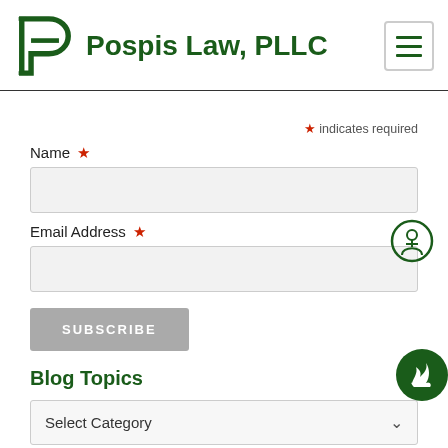[Figure (logo): Pospis Law PLLC logo with green P and L lettermark and firm name]
* indicates required
Name *
Email Address *
SUBSCRIBE
Blog Topics
Select Category